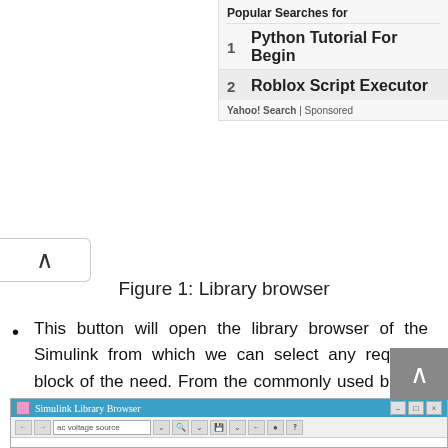[Figure (screenshot): Yahoo Search ad banner showing 'Popular Searches for' with two sponsored results: 1. Python Tutorial For Beginners, 2. Roblox Script Executor. Labeled 'Yahoo! Search | Sponsored'.]
[Figure (screenshot): A chevron/up-arrow button on the left side of the page, indicating scroll or navigation upward.]
Figure 1: Library browser
This button will open the library browser of the Simulink from which we can select any required block of the need. From the commonly used blocks section of library browser select the constant block as shown in the figure below,
[Figure (screenshot): Simulink Library Browser window screenshot showing the title bar and toolbar with search box containing 'ac voltage source'.]